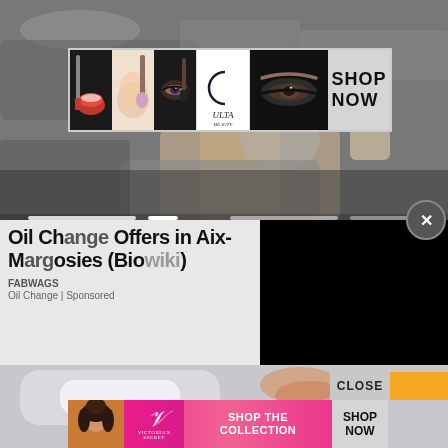[Figure (photo): Screenshot of a webpage showing overlapping ads. Top area shows a car engine/oil change image. An Ulta Beauty banner ad overlays it with makeup photos and 'SHOP NOW'. Mid section shows overlapping text ads for 'Oil Change Offers in Aix-Margosies (Biowiki)' from FABWAGS and 'Oil Change | Sponsored' with a black rectangle on the right. Bottom shows a partial skincare/product image with a Victoria's Secret banner ad 'SHOP THE COLLECTION SHOP NOW' and a CLOSE button.]
Oil Change Offers in Aix-Margosies (Biowiki)
FABWAGS
Oil Change | Sponsored
CLOSE
SHOP THE COLLECTION
SHOP NOW
SHOP NOW